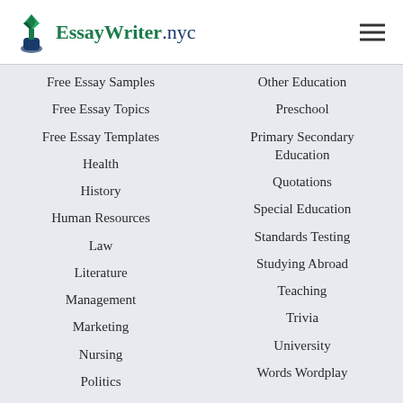[Figure (logo): EssayWriter.nyc logo with pen nib icon]
Free Essay Samples
Free Essay Topics
Free Essay Templates
Health
History
Human Resources
Law
Literature
Management
Marketing
Nursing
Politics
Other Education
Preschool
Primary Secondary Education
Quotations
Special Education
Standards Testing
Studying Abroad
Teaching
Trivia
University
Words Wordplay